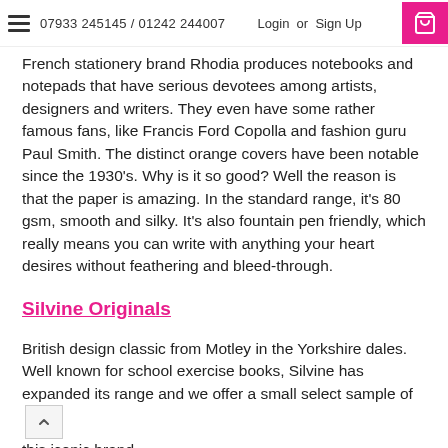07933 245145 / 01242 244007  Login or Sign Up
French stationery brand Rhodia produces notebooks and notepads that have serious devotees among artists, designers and writers. They even have some rather famous fans, like Francis Ford Copolla and fashion guru Paul Smith. The distinct orange covers have been notable since the 1930's. Why is it so good? Well the reason is that the paper is amazing. In the standard range, it's 80 gsm, smooth and silky. It's also fountain pen friendly, which really means you can write with anything your heart desires without feathering and bleed-through.
Silvine Originals
British design classic from Motley in the Yorkshire dales. Well known for school exercise books, Silvine has expanded its range and we offer a small select sample of this iconic brand.